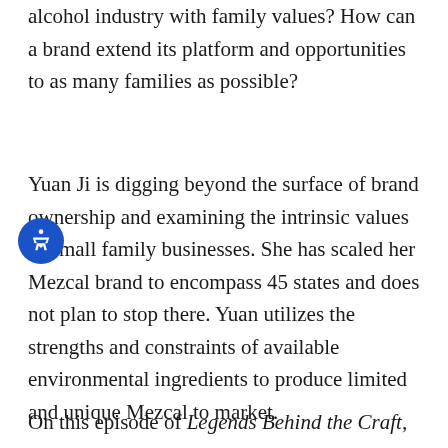alcohol industry with family values? How can a brand extend its platform and opportunities to as many families as possible?
Yuan Ji is digging beyond the surface of brand ownership and examining the intrinsic values of small family businesses. She has scaled her Mezcal brand to encompass 45 states and does not plan to stop there. Yuan utilizes the strengths and constraints of available environmental ingredients to produce limited and unique Mezcal to market.
On this episode of Legends Behind the Craft,